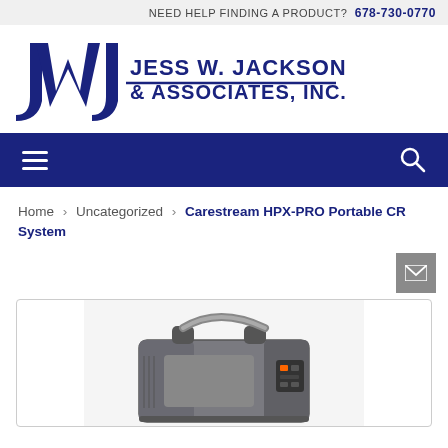NEED HELP FINDING A PRODUCT?  678-730-0770
[Figure (logo): JWJ Jess W. Jackson & Associates, Inc. logo]
[Figure (infographic): Dark navy navigation bar with hamburger menu icon on left and search icon on right]
Home > Uncategorized > Carestream HPX-PRO Portable CR System
[Figure (photo): Photo of Carestream HPX-PRO Portable CR System device — a grey portable case-style medical imaging unit with a metal handle on top and a control panel on the right side]
[Figure (infographic): Grey envelope/mail icon button]